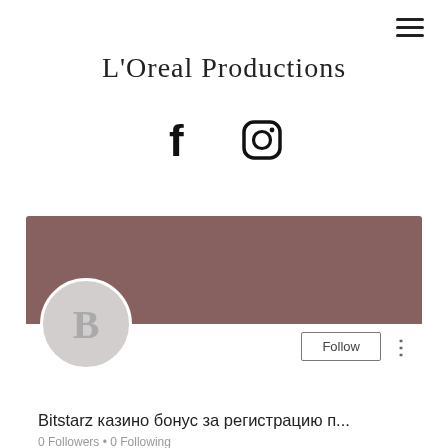L'Oreal Productions
[Figure (logo): Facebook and Instagram social media icons]
[Figure (screenshot): Social media profile card with mauve/brown cover banner, circular avatar with letter B, Follow button, username 'Bitstarz казино бонус за регистрацию п...', and '0 Followers • 0 Following' stats]